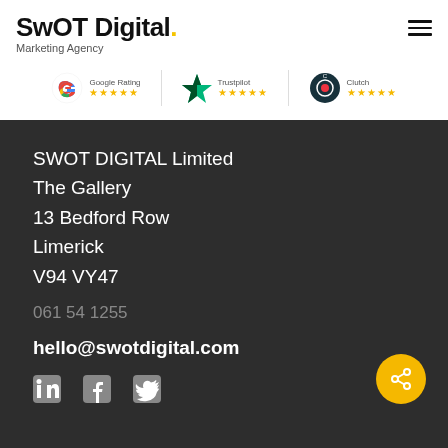SwOT Digital. Marketing Agency
[Figure (logo): Google Rating 5 stars, Trustpilot 4.5 stars, Clutch 5 stars rating badges]
SWOT DIGITAL Limited
The Gallery
13 Bedford Row
Limerick
V94 VY47
061 54 1255
hello@swotdigital.com
[Figure (illustration): LinkedIn, Facebook, Twitter social media icons and orange share button]